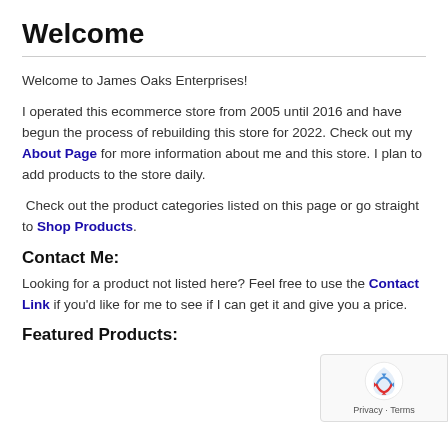Welcome
Welcome to James Oaks Enterprises!
I operated this ecommerce store from 2005 until 2016 and have begun the process of rebuilding this store for 2022. Check out my About Page for more information about me and this store. I plan to add products to the store daily.
Check out the product categories listed on this page or go straight to Shop Products.
Contact Me:
Looking for a product not listed here? Feel free to use the Contact Link if you'd like for me to see if I can get it and give you a price.
Featured Products: